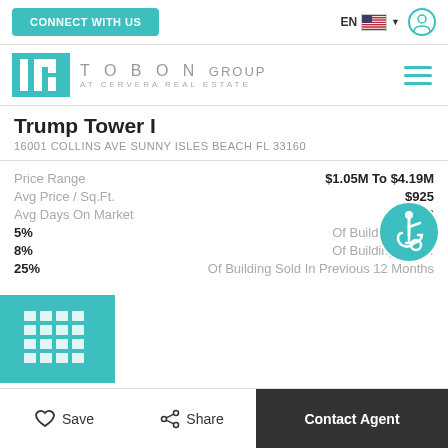CONNECT WITH US | EN | user icon
[Figure (logo): Tobon Group at Cervera Real Estate logo with teal geometric icon]
Trump Tower I
16001 COLLINS AVE SUNNY ISLES BEACH FL 33160
Price Range: $1.05M To $4.19M
Avg Price / Sq.Ft.: $925
Avg Days On Market: 176
5% Of Building Is F...
8% Of Building Is F...
25% Of Building Sold In Previous 12 Months
[Figure (illustration): Teal building/grid icon]
Save | Share | Contact Agent